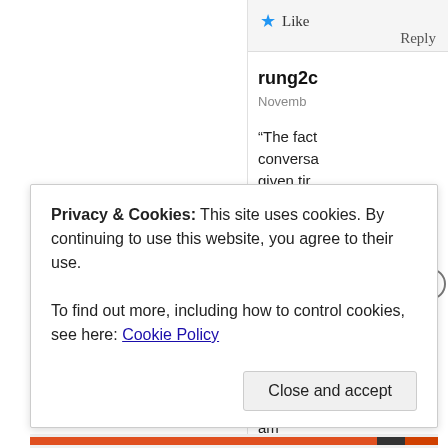Like
Reply
rung2d
November
“The fact conversa given tin internet
Totally ag weren’t f friends w husband to learn a such as y
no er am ed
Privacy & Cookies: This site uses cookies. By continuing to use this website, you agree to their use.
To find out more, including how to control cookies, see here: Cookie Policy
Close and accept